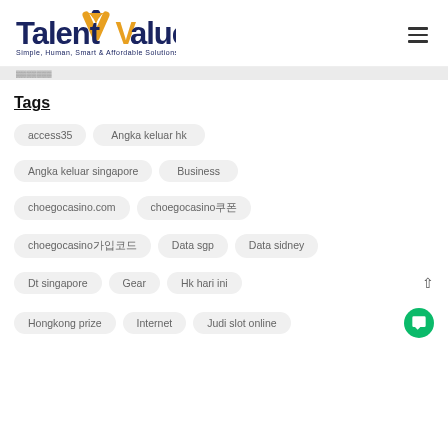[Figure (logo): TalentValue logo with stylized V, tagline: Simple, Human, Smart & Affordable Solutions]
▓▓▓▓▓▓▓
Tags
access35
Angka keluar hk
Angka keluar singapore
Business
choegocasino.com
choegocasino쿠폰
choegocasino가입코드
Data sgp
Data sidney
Dt singapore
Gear
Hk hari ini
Hongkong prize
Internet
Judi slot online